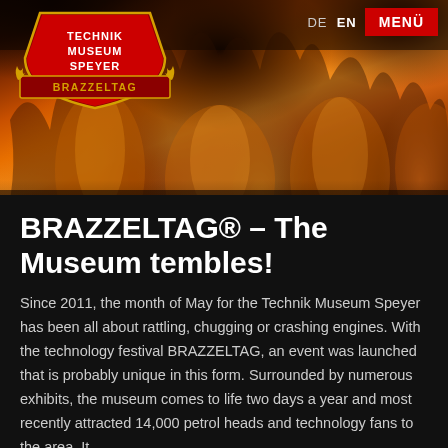[Figure (photo): Dramatic fire/flames background photograph in orange and dark tones, used as a hero image for the Brazzeltag event]
DE  EN  MENÜ
[Figure (logo): Technik Museum Speyer Brazzeltag logo — shield shape with red background, yellow text reading TECHNIK MUSEUM SPEYER, and BRAZZELTAG banner with flame decorations]
BRAZZELTAG® – The Museum tembles!
Since 2011, the month of May for the Technik Museum Speyer has been all about rattling, chugging or crashing engines. With the technology festival BRAZZELTAG, an event was launched that is probably unique in this form. Surrounded by numerous exhibits, the museum comes to life two days a year and most recently attracted 14,000 petrol heads and technology fans to the area. It